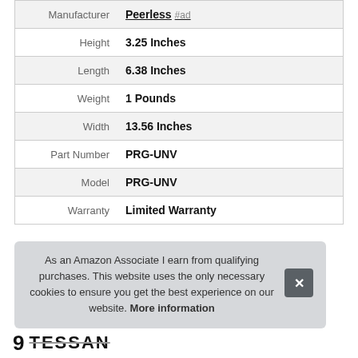| Attribute | Value |
| --- | --- |
| Manufacturer | Peerless #ad |
| Height | 3.25 Inches |
| Length | 6.38 Inches |
| Weight | 1 Pounds |
| Width | 13.56 Inches |
| Part Number | PRG-UNV |
| Model | PRG-UNV |
| Warranty | Limited Warranty |
As an Amazon Associate I earn from qualifying purchases. This website uses the only necessary cookies to ensure you get the best experience on our website. More information